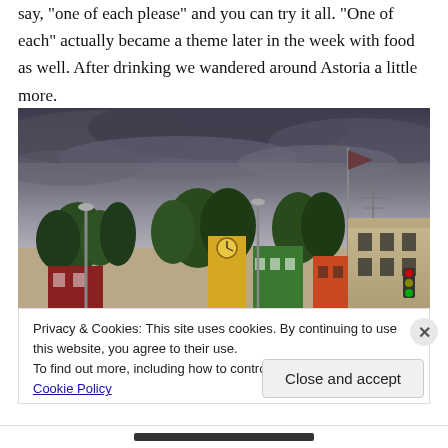say, "one of each please" and you can try it all. "One of each" actually became a theme later in the week with food as well. After drinking we wandered around Astoria a little more.
[Figure (photo): Aerial/street-level view of Astoria, Oregon under dramatic dark storm clouds. Colorful buildings including a yellow clock tower, green facade buildings, trees lining the street, a flagpole with a flag, and a large stone building on the right. Street lamps visible.]
Privacy & Cookies: This site uses cookies. By continuing to use this website, you agree to their use.
To find out more, including how to control cookies, see here: Cookie Policy
Close and accept